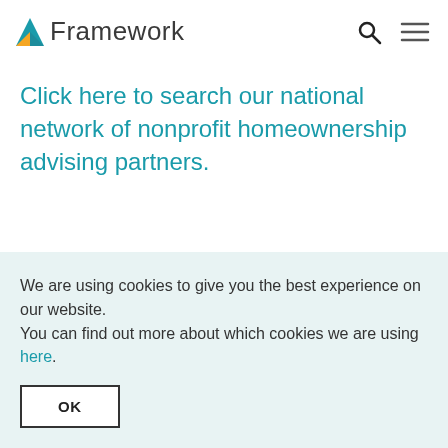Framework
Click here to search our national network of nonprofit homeownership advising partners.
We are using cookies to give you the best experience on our website.
You can find out more about which cookies we are using here.
OK